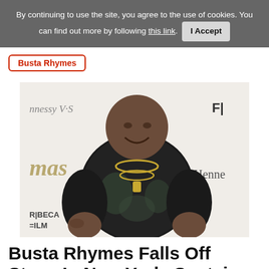By continuing to use the site, you agree to the use of cookies. You can find out more by following this link.  I Accept
Busta Rhymes
[Figure (photo): Busta Rhymes standing at a Hennessy V.S / Tribeca Film event backdrop, smiling, wearing a floral/graphic black t-shirt with gold chain necklaces.]
Busta Rhymes Falls Off Stage In New York. Sustains Bloody Head